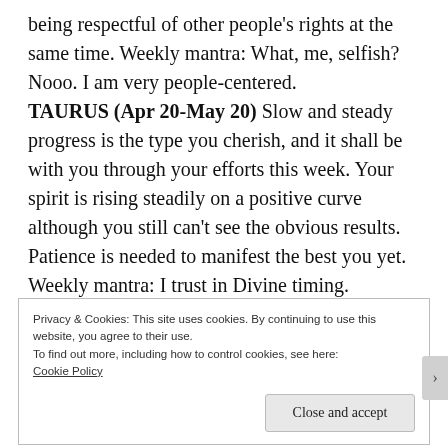being respectful of other people's rights at the same time. Weekly mantra: What, me, selfish? Nooo. I am very people-centered. TAURUS (Apr 20-May 20) Slow and steady progress is the type you cherish, and it shall be with you through your efforts this week. Your spirit is rising steadily on a positive curve although you still can't see the obvious results. Patience is needed to manifest the best you yet. Weekly mantra: I trust in Divine timing. GEMINI (May 21-June 20) Whatever can calm
Privacy & Cookies: This site uses cookies. By continuing to use this website, you agree to their use.
To find out more, including how to control cookies, see here:
Cookie Policy
Close and accept